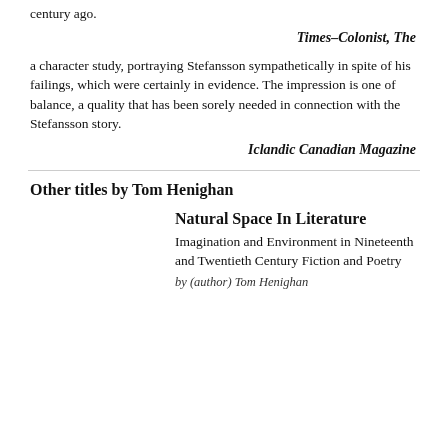century ago.
Times–Colonist, The
a character study, portraying Stefansson sympathetically in spite of his failings, which were certainly in evidence. The impression is one of balance, a quality that has been sorely needed in connection with the Stefansson story.
Iclandic Canadian Magazine
Other titles by Tom Henighan
Natural Space In Literature
Imagination and Environment in Nineteenth and Twentieth Century Fiction and Poetry
by (author) Tom Henighan